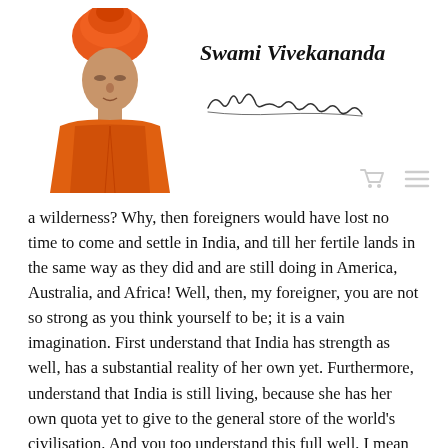[Figure (photo): Portrait of Swami Vivekananda wearing orange robes and orange turban, with a signature below reading 'Swami Vivekananda']
Swami Vivekananda
a wilderness? Why, then foreigners would have lost no time to come and settle in India, and till her fertile lands in the same way as they did and are still doing in America, Australia, and Africa! Well, then, my foreigner, you are not so strong as you think yourself to be; it is a vain imagination. First understand that India has strength as well, has a substantial reality of her own yet. Furthermore, understand that India is still living, because she has her own quota yet to give to the general store of the world's civilisation. And you too understand this full well, I mean